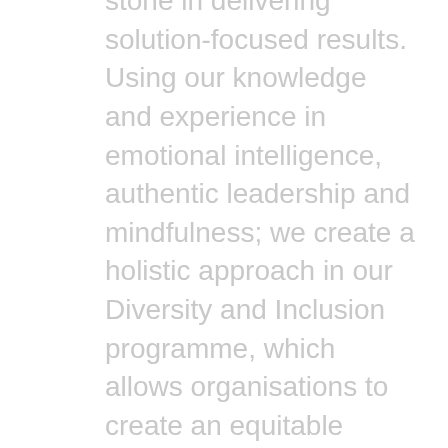stone in delivering solution-focused results. Using our knowledge and experience in emotional intelligence, authentic leadership and mindfulness; we create a holistic approach in our Diversity and Inclusion programme, which allows organisations to create an equitable platform that promotes honest and open dialogue during the implementation of culturally sensitive change initiatives.

Our underlying ethos is that organisations should aim for synergy within their workforce infrastructure...